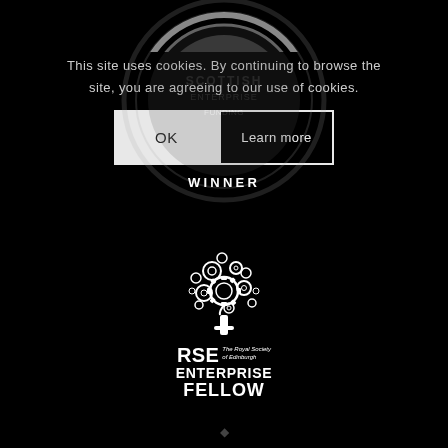[Figure (logo): Partial circular badge/award logo at top of page, dark background, partially cut off]
This site uses cookies. By continuing to browse the site, you are agreeing to our use of cookies.
[Figure (infographic): Two buttons: OK button (light background) and Learn more button (outlined)]
WINNER
[Figure (logo): RSE Enterprise Fellow logo — tree made of gears/circles with text RSE The Royal Society of Edinburgh ENTERPRISE FELLOW]